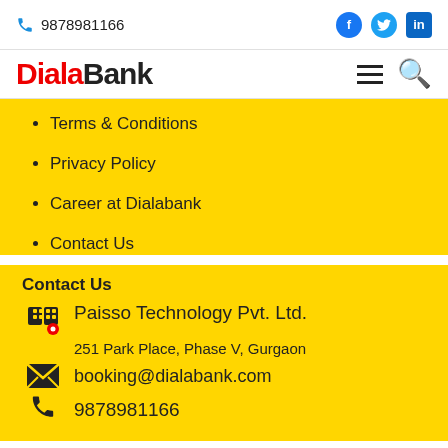9878981166
[Figure (logo): DialaBank logo with Dial in red and Bank in black]
Terms & Conditions
Privacy Policy
Career at Dialabank
Contact Us
Contact Us
Paisso Technology Pvt. Ltd.
251 Park Place, Phase V, Gurgaon
booking@dialabank.com
9878981166
© 2021 Dialabank.com